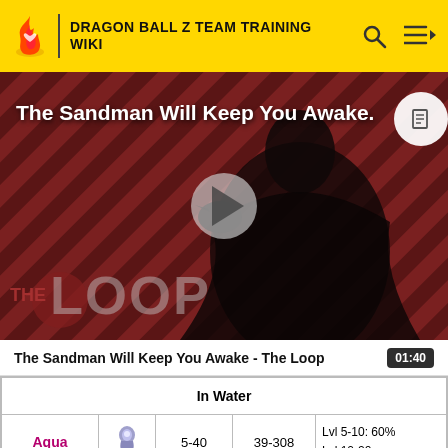DRAGON BALL Z TEAM TRAINING WIKI
[Figure (screenshot): Video thumbnail for 'The Sandman Will Keep You Awake - The Loop' featuring a dark figure with a crow, diagonal stripe background in dark red and black, with THE LOOP logo overlay and a play button in the center.]
The Sandman Will Keep You Awake - The Loop   01:40
| In Water |
| --- |
| Aqua | [icon] | 5-40 | 39-308 | Lvl 5-10: 60%
Lvl 10-20 |